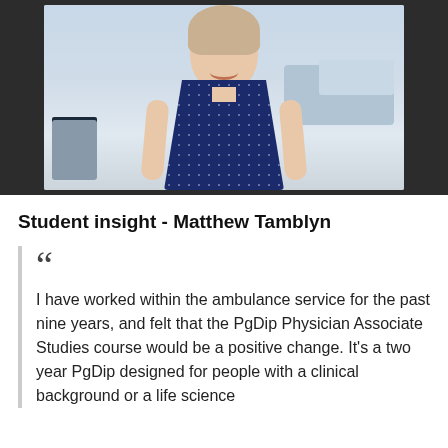[Figure (photo): A young woman smiling, seated in a medical/clinical room with an examination bed and chair visible in the background. She is wearing a navy blue floral sleeveless dress.]
Student insight - Matthew Tamblyn
I have worked within the ambulance service for the past nine years, and felt that the PgDip Physician Associate Studies course would be a positive change. It's a two year PgDip designed for people with a clinical background or a life science